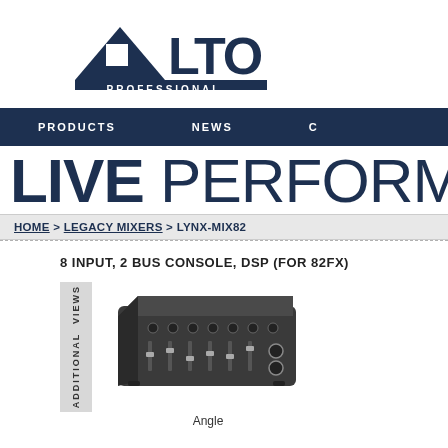[Figure (logo): Alto Professional logo with triangle and wordmark PROFESSIONAL below]
PRODUCTS   NEWS   C
LIVE PERFORMANCE
HOME > LEGACY MIXERS > LYNX-MIX82
8 INPUT, 2 BUS CONSOLE, DSP (FOR 82FX)
[Figure (photo): Photo of an audio mixing console (Alto LYNX-MIX82) shown at an angle, labeled 'Angle' below]
Angle